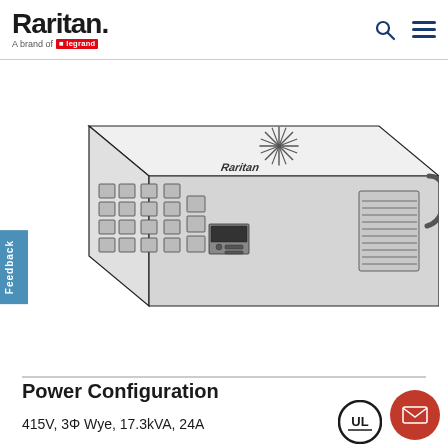Raritan. A brand of Legrand
[Figure (illustration): Isometric line drawing of a Raritan rack PDU (power distribution unit) showing front panel with multiple IEC C13/C19 outlets, display panel, and ventilation grille on the right side. The Raritan logo and starburst design appear on the top surface.]
Power Configuration
415V, 3Φ Wye, 17.3kVA, 24A